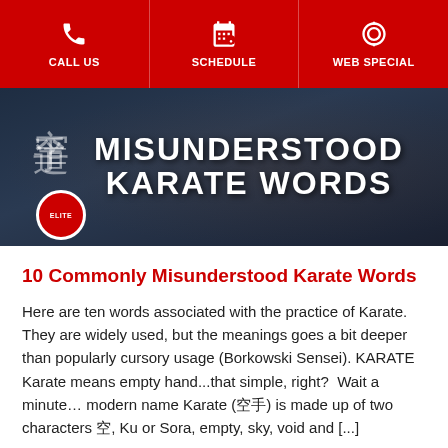CALL US | SCHEDULE | WEB SPECIAL
[Figure (photo): Dark background hero image with Japanese kanji characters on the left side and large white text reading 'MISUNDERSTOOD KARATE WORDS'. A red and white circular Elite badge is in the bottom-left corner.]
10 Commonly Misunderstood Karate Words
Here are ten words associated with the practice of Karate. They are widely used, but the meanings goes a bit deeper than popularly cursory usage (Borkowski Sensei). KARATE Karate means empty hand...that simple, right?  Wait a minute… modern name Karate (空手) is made up of two characters 空, Ku or Sora, empty, sky, void and [...]